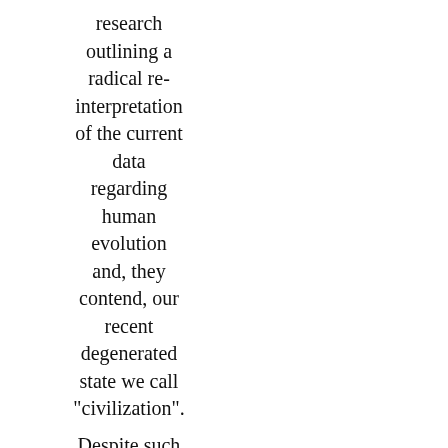research outlining a radical re-interpretation of the current data regarding human evolution and, they contend, our recent degenerated state we call "civilization".
Despite such a young and extreme proposal positive reactions are growing and include such minds as